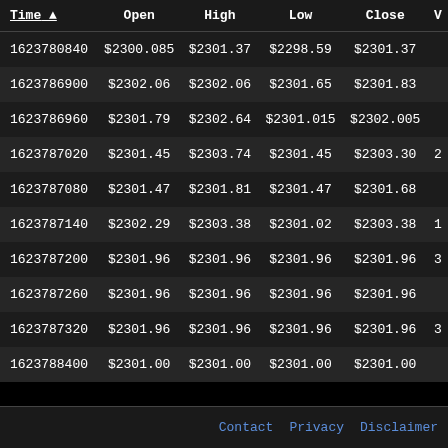| Time ▲ | Open | High | Low | Close | V |
| --- | --- | --- | --- | --- | --- |
| 1623780840 | $2300.085 | $2301.37 | $2298.59 | $2301.37 |  |
| 1623786900 | $2302.06 | $2302.06 | $2301.65 | $2301.83 |  |
| 1623786960 | $2301.79 | $2302.64 | $2301.015 | $2302.005 |  |
| 1623787020 | $2301.45 | $2303.74 | $2301.45 | $2303.30 | 2 |
| 1623787080 | $2301.47 | $2301.81 | $2301.47 | $2301.68 |  |
| 1623787140 | $2302.29 | $2303.38 | $2301.02 | $2303.38 | 1 |
| 1623787200 | $2301.96 | $2301.96 | $2301.96 | $2301.96 | 3 |
| 1623787260 | $2301.96 | $2301.96 | $2301.96 | $2301.96 |  |
| 1623787320 | $2301.96 | $2301.96 | $2301.96 | $2301.96 | 3 |
| 1623788400 | $2301.00 | $2301.00 | $2301.00 | $2301.00 |  |
Contact  Privacy  Disclaimer